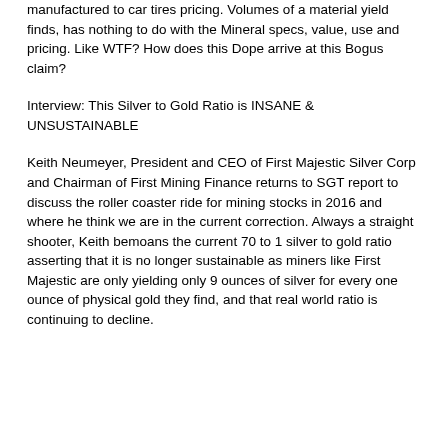manufactured to car tires pricing. Volumes of a material yield finds, has nothing to do with the Mineral specs, value, use and pricing. Like WTF? How does this Dope arrive at this Bogus claim?
Interview: This Silver to Gold Ratio is INSANE & UNSUSTAINABLE
Keith Neumeyer, President and CEO of First Majestic Silver Corp and Chairman of First Mining Finance returns to SGT report to discuss the roller coaster ride for mining stocks in 2016 and where he think we are in the current correction. Always a straight shooter, Keith bemoans the current 70 to 1 silver to gold ratio asserting that it is no longer sustainable as miners like First Majestic are only yielding only 9 ounces of silver for every one ounce of physical gold they find, and that real world ratio is continuing to decline.